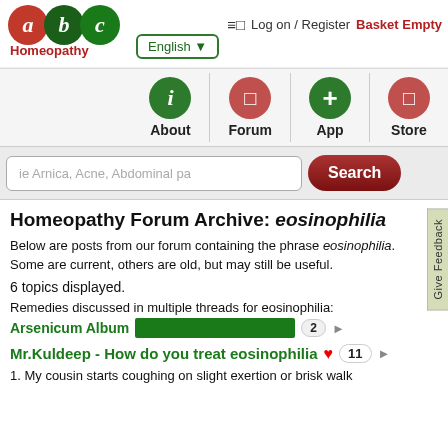≡□  Log on / Register  Basket Empty
[Figure (logo): ABC Homeopathy logo with red 'a', green 'b', green 'c' circles and 'Homeopathy' text in red]
English ▼
[Figure (infographic): Navigation icons row: About (green i circle), Forum (red circle), App (green + circle), Store (red circle)]
ie Arnica, Acne, Abdominal pa
Homeopathy Forum Archive: eosinophilia
Below are posts from our forum containing the phrase eosinophilia. Some are current, others are old, but may still be useful.
6 topics displayed.
Remedies discussed in multiple threads for eosinophilia:
Arsenicum Album  [bar] 2 ▶
Mr.Kuldeep - How do you treat eosinophilia ♥  11 ▶
1. My cousin starts coughing on slight exertion or brisk walk